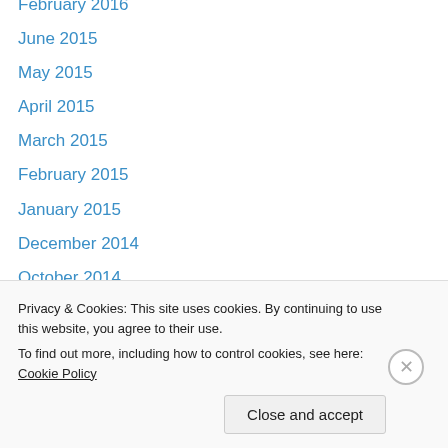February 2016
June 2015
May 2015
April 2015
March 2015
February 2015
January 2015
December 2014
October 2014
September 2014
August 2014
July 2014
June 2014
May 2014
Privacy & Cookies: This site uses cookies. By continuing to use this website, you agree to their use.
To find out more, including how to control cookies, see here: Cookie Policy
Close and accept